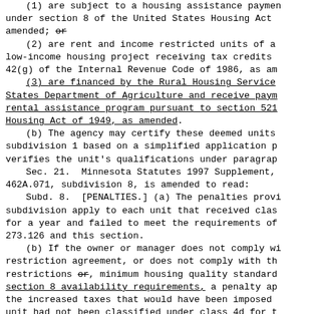(1) are subject to a housing assistance payment under section 8 of the United States Housing Act amended; or
(2) are rent and income restricted units of a low-income housing project receiving tax credits 42(g) of the Internal Revenue Code of 1986, as am
(3) are financed by the Rural Housing Service States Department of Agriculture and receive payment rental assistance program pursuant to section 521 Housing Act of 1949, as amended.
(b) The agency may certify these deemed units subdivision 1 based on a simplified application p verifies the unit's qualifications under paragraph
Sec. 21.  Minnesota Statutes 1997 Supplement, 462A.071, subdivision 8, is amended to read:
Subd. 8.  [PENALTIES.] (a) The penalties provi subdivision apply to each unit that received clas for a year and failed to meet the requirements of 273.126 and this section.
(b) If the owner or manager does not comply wi restriction agreement, or does not comply with th restrictions or, minimum housing quality standard section 8 availability requirements, a penalty ap the increased taxes that would have been imposed unit had not been classified under class 4d for t